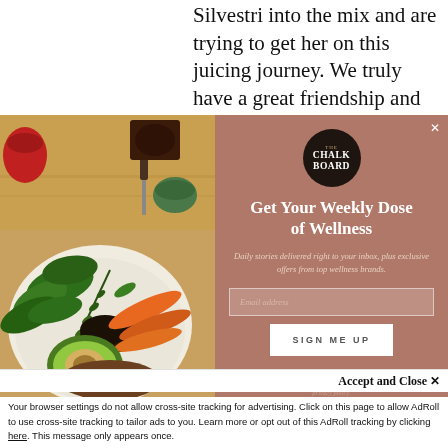Silvestri into the mix and are trying to get her on this juicing journey. We truly have a great friendship and support group
[Figure (photo): Bowl of fresh vegetables including spinach, carrots, avocado, seaweed/herbs on a wooden cutting board background]
[Figure (screenshot): Newsletter signup modal overlay with The Chalkboard logo, title 'Get Your Weekly Dose of Wellness', subtitle text, email input field, and SIGN ME UP button on dusty rose/mauve background]
Accept and Close ×
Your browser settings do not allow cross-site tracking for advertising. Click on this page to allow AdRoll to use cross-site tracking to tailor ads to you. Learn more or opt out of this AdRoll tracking by clicking here. This message only appears once.